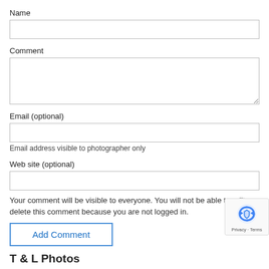Name
Comment
Email (optional)
Email address visible to photographer only
Web site (optional)
Your comment will be visible to everyone. You will not be able to edit or delete this comment because you are not logged in.
Add Comment
[Figure (logo): reCAPTCHA badge with shield/recycled arrows icon, showing 'Privacy · Terms' text]
T & L Photos